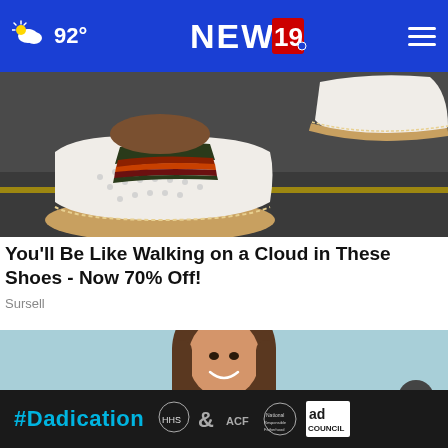92° NEWS 19
[Figure (photo): Close-up of white slip-on shoes with brown/red striped elastic band and perforated leather upper, with cork-style sole trim, on a dark asphalt surface]
You'll Be Like Walking on a Cloud in These Shoes - Now 70% Off!
Sursell
[Figure (photo): Young woman with long brown hair smiling against a light blue background]
[Figure (infographic): #Dadication ad banner with HHS, ACF, National Responsible Fatherhood Clearinghouse, and Ad Council logos on dark background]